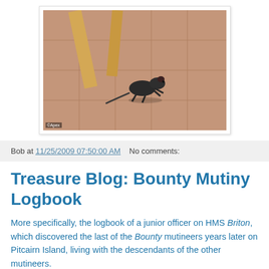[Figure (photo): A rat photographed on a tiled floor with wooden furniture legs visible. Watermark reads '©Apex' in bottom-left corner.]
Bob at 11/25/2009 07:50:00 AM    No comments:
Treasure Blog: Bounty Mutiny Logbook
More specifically, the logbook of a junior officer on HMS Briton, which discovered the last of the Bounty mutineers years later on Pitcairn Island, living with the descendants of the other mutineers.